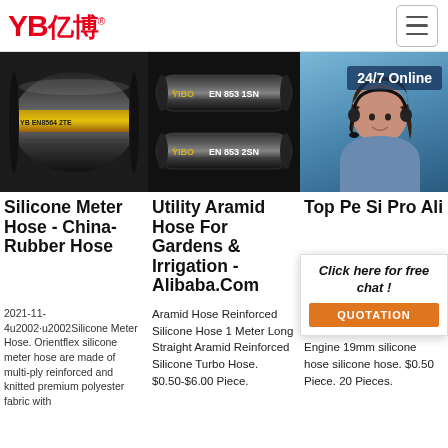YB亿博® [logo] | hamburger menu
[Figure (photo): Three product images: left - gray braided rubber hose (EN8564 2TE), center - two black hoses labeled YIBO EN 853 1SN and YIBO EN 853 2SN, right - woman with headset '24/7 Online' chat widget]
Silicone Meter Hose - China- Rubber Hose
2021-11-4u2002·u2002Silicone Meter Hose. Orientflex silicone meter hose are made of multi-ply reinforced and knitted premium polyester fabric with
Utility Aramid Hose For Gardens & Irrigation - Alibaba.Com
Aramid Hose Reinforced Silicone Hose 1 Meter Long Straight Aramid Reinforced Silicone Turbo Hose. $0.50-$6.00 Piece.
Top Performance Silicone Hose Products - Alibaba.Com
Heat resistance flexible fabric reinforced Turbo Engine 19mm silicone hose silicone hose. $0.50 Piece. 20 Pieces.
[Figure (infographic): Chat widget overlay: 'Click here for free chat!' and orange QUOTATION button]